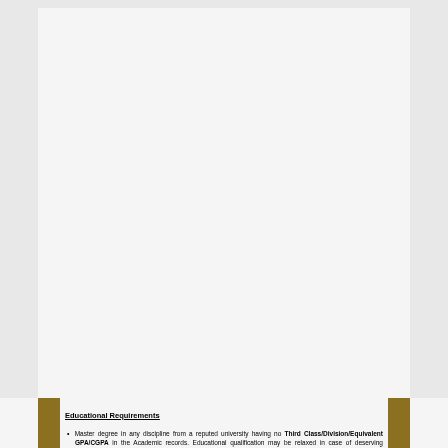Educational Requirements
Master degree in any discipline from a reputed university having no Third Class/Division/Equivalent GPA/CGPA in the Academic records. Educational qualification may be relaxed in case of deserving candidate.